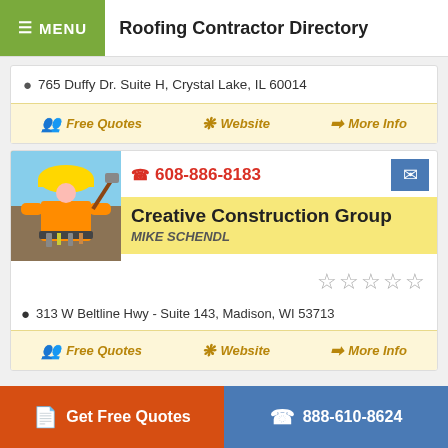MENU  Roofing Contractor Directory
765 Duffy Dr. Suite H, Crystal Lake, IL 60014
Free Quotes   Website   More Info
608-886-8183
Creative Construction Group
MIKE SCHENDL
313 W Beltline Hwy - Suite 143, Madison, WI 53713
Free Quotes   Website   More Info
Get Free Quotes   888-610-8624